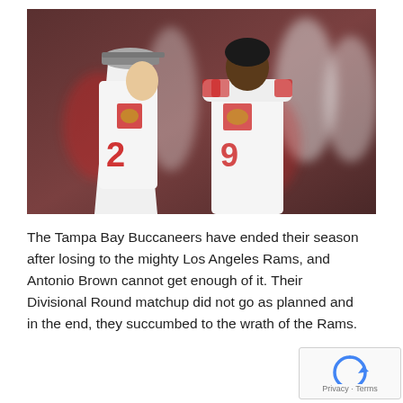[Figure (photo): Two Tampa Bay Buccaneers players in white uniforms talking on the field. The player on the left wearing #12 faces right, and the player on the right faces left. Other players are blurred in the background.]
The Tampa Bay Buccaneers have ended their season after losing to the mighty Los Angeles Rams, and Antonio Brown cannot get enough of it. Their Divisional Round matchup did not go as planned and in the end, they succumbed to the wrath of the Rams.
[Figure (logo): Google reCAPTCHA badge with Privacy and Terms links]